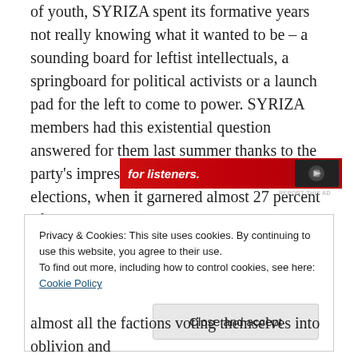of youth, SYRIZA spent its formative years not really knowing what it wanted to be – a sounding board for leftist intellectuals, a springboard for political activists or a launch pad for the left to come to power. SYRIZA members had this existential question answered for them last summer thanks to the party's impressive showing in the June elections, when it garnered almost 27 percent of the vote and won 72 seats in Parliament.
[Figure (screenshot): Red advertisement banner with text 'for listeners.' and speaker/headphone icon on the right]
REPORT THIS AD
Privacy & Cookies: This site uses cookies. By continuing to use this website, you agree to their use.
To find out more, including how to control cookies, see here: Cookie Policy
Close and accept
almost all the factions voting themselves into oblivion and